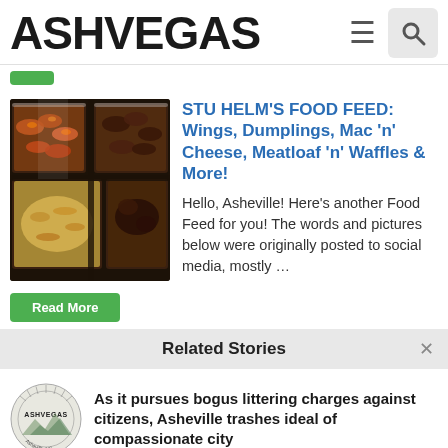ASHVEGAS
[Figure (screenshot): Green Read More button strip at top]
STU HELM'S FOOD FEED: Wings, Dumplings, Mac 'n' Cheese, Meatloaf 'n' Waffles & More!
[Figure (photo): Photo of food containers with wings, mac and cheese, and other dishes in aluminum trays]
Hello, Asheville! Here's another Food Feed for you! The words and pictures below were originally posted to social media, mostly ...
[Figure (screenshot): Green Read More button]
Related Stories
[Figure (logo): Ashvegas circular logo badge]
As it pursues bogus littering charges against citizens, Asheville trashes ideal of compassionate city